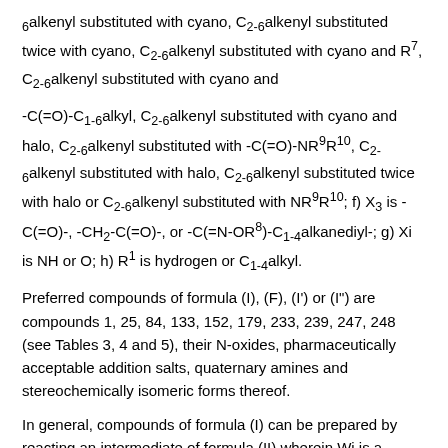6alkenyl substituted with cyano, C2-6alkenyl substituted twice with cyano, C2-6alkenyl substituted with cyano and R7, C2-6alkenyl substituted with cyano and -C(=O)-C1-6alkyl, C2-6alkenyl substituted with cyano and halo, C2-6alkenyl substituted with -C(=O)-NR9R10, C2-6alkenyl substituted with halo, C2-6alkenyl substituted twice with halo or C2-6alkenyl substituted with NR9R10; f) X3 is -C(=O)-, -CH2-C(=O)-, or -C(=N-OR8)-C1-4alkanediyl-; g) Xi is NH or O; h) R1 is hydrogen or C1-4alkyl.
Preferred compounds of formula (I), (F), (I') or (I'') are compounds 1, 25, 84, 133, 152, 179, 233, 239, 247, 248 (see Tables 3, 4 and 5), their N-oxides, pharmaceutically acceptable addition salts, quaternary amines and stereochemically isomeric forms thereof.
In general, compounds of formula (I) can be prepared by reacting an intermediate of formula (II) wherein Wi is a suitable leaving group such as, for example, halo, triflate,